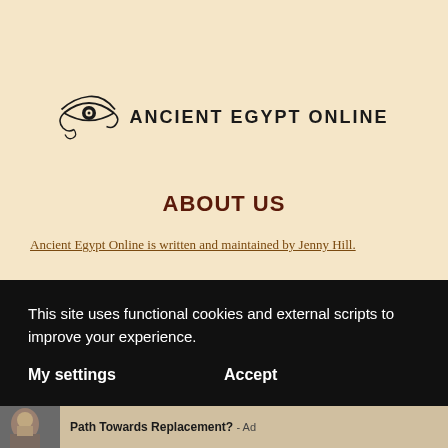[Figure (logo): Eye of Horus / Ra symbol in black, used as the Ancient Egypt Online logo]
ANCIENT EGYPT ONLINE
ABOUT US
Ancient Egypt Online is written and maintained by Jenny Hill.
This site uses functional cookies and external scripts to improve your experience.
My settings    Accept
Path Towards Replacement? - Ad